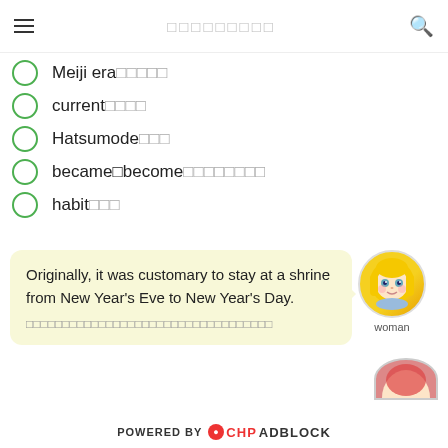≡  □□□□□□□□  🔍
Meiji era□□□□□
current□□□□
Hatsumode□□□
became□become□□□□□□□□
habit□□□
Originally, it was customary to stay at a shrine from New Year's Eve to New Year's Day.
□□□□□□□□□□□□□□□□□□□□□□□□□□□□□□□□
[Figure (illustration): Anime-style woman avatar with blonde hair and blue eyes, labeled 'woman']
POWERED BY CHPADBLOCK